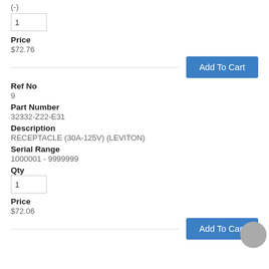(-)
1
Price
$72.76
Add To Cart
Ref No
9
Part Number
32332-Z22-E31
Description
RECEPTACLE (30A-125V) (LEVITON)
Serial Range
1000001 - 9999999
Qty
1
Price
$72.06
Add To Cart